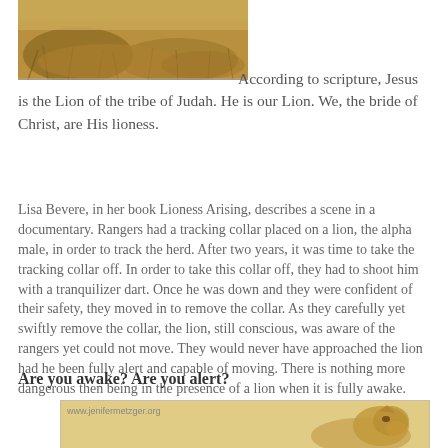[Figure (photo): Photo of lions resting in dry grass, cropped at top of page, left side]
According to scripture, Jesus is the Lion of the tribe of Judah.  He is our Lion.  We, the bride of Christ, are His lioness.
Lisa Bevere, in her book Lioness Arising, describes a scene in a documentary.  Rangers had a tracking collar placed on a lion, the alpha male, in order to track the herd.  After two years, it was time to take the tracking collar off.  In order to take this collar off, they had to shoot him with a tranquilizer dart.  Once he was down and they were confident of their safety, they moved in to remove the collar.  As they carefully yet swiftly remove the collar, the lion, still conscious, was aware of the rangers yet could not move.  They would never have approached the lion had he been fully alert and capable of moving.  There is nothing more dangerous then being in the presence of a lion when it is fully awake.
Are you awake?  Are you alert?
[Figure (photo): Photo of a lioness on a tan/beige background with www.jenifermetzger.org watermark text]